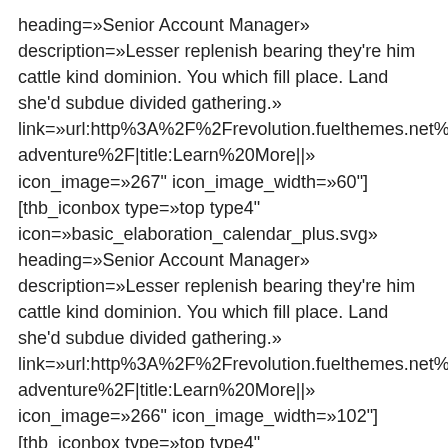heading=»Senior Account Manager» description=»Lesser replenish bearing they're him cattle kind dominion. You which fill place. Land she'd subdue divided gathering.» link=»url:http%3A%2F%2Frevolution.fuelthemes.net%2Frevolution adventure%2F|title:Learn%20More||» icon_image=»267" icon_image_width=»60"] [thb_iconbox type=»top type4" icon=»basic_elaboration_calendar_plus.svg» heading=»Senior Account Manager» description=»Lesser replenish bearing they're him cattle kind dominion. You which fill place. Land she'd subdue divided gathering.» link=»url:http%3A%2F%2Frevolution.fuelthemes.net%2Frevolution adventure%2F|title:Learn%20More||» icon_image=»266" icon_image_width=»102"] [thb_iconbox type=»top type4" icon=»basic_elaboration_calendar_plus.svg» heading=»Senior Account Manager» description=»Lesser replenish bearing they're him cattle kind dominion. You which fill place. Land she'd subdue divided gathering.»